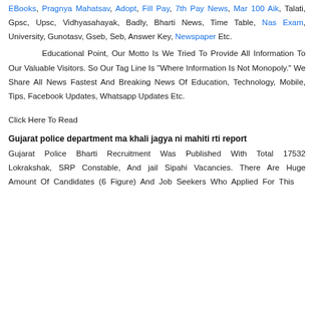EBooks, Pragnya Mahatsav, Adopt, Fill Pay, 7th Pay News, Mar 100 Aik, Talati, Gpsc, Upsc, Vidhyasahayak, Badly, Bharti News, Time Table, Nas Exam, University, Gunotasv, Gseb, Seb, Answer Key, Newspaper Etc.
Educational Point, Our Motto Is We Tried To Provide All Information To Our Valuable Visitors. So Our Tag Line Is “Where Information Is Not Monopoly.” We Share All News Fastest And Breaking News Of Education, Technology, Mobile, Tips, Facebook Updates, Whatsapp Updates Etc.
Click Here To Read
Gujarat police department ma khali jagya ni mahiti rti report
Gujarat Police Bharti Recruitment Was Published With Total 17532 Lokrakshak, SRP Constable, And jail Sipahi Vacancies. There Are Huge Amount Of Candidates (6 Figure) And Job Seekers Who Applied For This